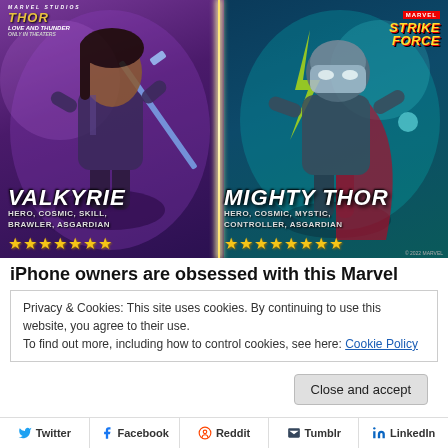[Figure (illustration): Marvel Strike Force promotional image featuring Valkyrie (left) and Mighty Thor (right) characters against stylized backgrounds. Top-left shows Thor: Love and Thunder movie logo. Top-right shows Marvel Strike Force game logo. Each character has name, tags (Hero, Cosmic, etc.), and star ratings below.]
iPhone owners are obsessed with this Marvel
Privacy & Cookies: This site uses cookies. By continuing to use this website, you agree to their use.
To find out more, including how to control cookies, see here: Cookie Policy
Close and accept
Twitter  Facebook  Reddit  Tumblr  LinkedIn